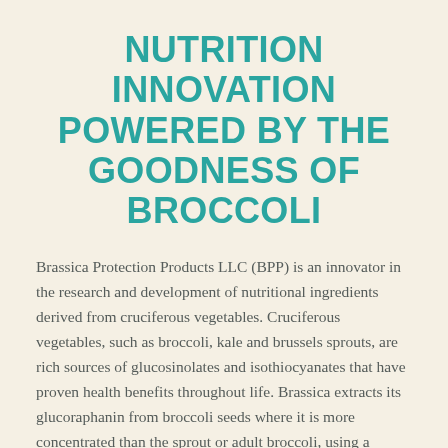NUTRITION INNOVATION POWERED BY THE GOODNESS OF BROCCOLI
Brassica Protection Products LLC (BPP) is an innovator in the research and development of nutritional ingredients derived from cruciferous vegetables. Cruciferous vegetables, such as broccoli, kale and brussels sprouts, are rich sources of glucosinolates and isothiocyanates that have proven health benefits throughout life. Brassica extracts its glucoraphanin from broccoli seeds where it is more concentrated than the sprout or adult broccoli, using a natural hot water process. The Company markets and sells its TrueBroc®